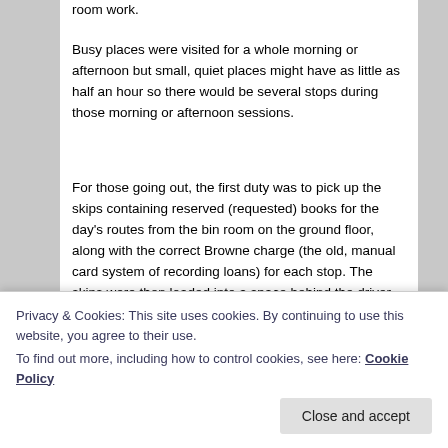room work.
Busy places were visited for a whole morning or afternoon but small, quiet places might have as little as half an hour so there would be several stops during those morning or afternoon sessions.
For those going out, the first duty was to pick up the skips containing reserved (requested) books for the day's routes from the bin room on the ground floor, along with the correct Browne charge (the old, manual card system of recording loans) for each stop. The skips were then loaded into a space behind the driver and assistant. The charge was wedged in the top of the skips with a fervent hope for no emergency stops along the route. Not fun
Privacy & Cookies: This site uses cookies. By continuing to use this website, you agree to their use.
To find out more, including how to control cookies, see here: Cookie Policy
water in the reservoir.